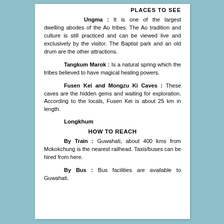PLACES TO SEE
Ungma : It is one of the largest dwelling abodes of the Ao tribes. The Ao tradition and culture is still practiced and can be viewed live and exclusively by the visitor. The Baptist park and an old drum are the other attractions.
Tangkum Marok : Is a natural spring which the tribes believed to have magical healing powers.
Fusen Kei and Mongzu Ki Caves : These caves are the hidden gems and waiting for exploration. According to the locals, Fusen Kei is about 25 km in length.
Longkhum
HOW TO REACH
By Train : Guwahati, about 400 kms from Mokokchung is the nearest railhead. Taxis/buses can be hired from here.
By Bus : Bus facilities are available to Guwahati.